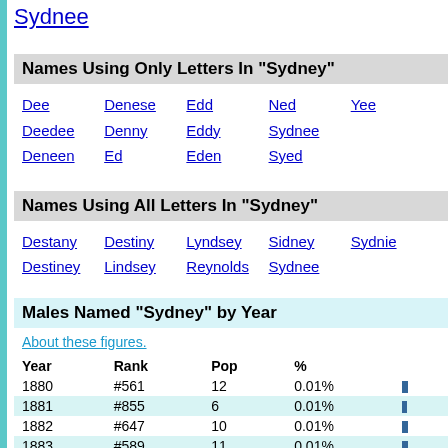Sydnee
Names Using Only Letters In "Sydney"
Dee   Denese  Edd   Ned   Yee
Deedee  Denny   Eddy  Sydnee
Deneen  Ed      Eden  Syed
Names Using All Letters In "Sydney"
Destany  Destiny  Lyndsey  Sidney  Sydnie
Destiney  Lindsey  Reynolds  Sydnee
Males Named "Sydney" by Year
About these figures.
| Year | Rank | Pop | % |
| --- | --- | --- | --- |
| 1880 | #561 | 12 | 0.01% |
| 1881 | #855 | 6 | 0.01% |
| 1882 | #647 | 10 | 0.01% |
| 1883 | #589 | 11 | 0.01% |
| 1884 | #543 | 13 | 0.01% |
| 1885 | #354 | 25 | 0.02% |
| 1886 | #642 | 10 | 0.01% |